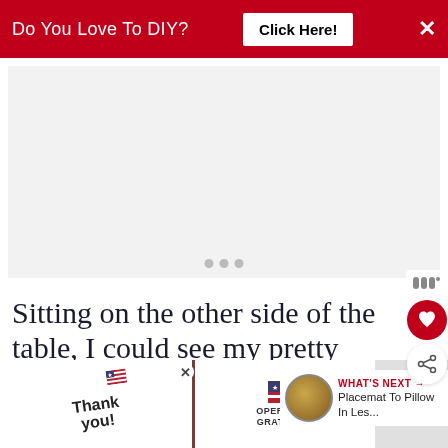Do You Love To DIY?  Click Here!  ×
[Figure (other): Advertisement placeholder area with three dots loading indicator]
Sitting on the other side of the table, I could see my pretty hood ~ even
WHAT'S NEXT → Placemat To Pillow In Les...
[Figure (photo): Bottom advertisement banner: Thank you note with American flag pencil and Operation Gratitude advertisement with firefighters in background]